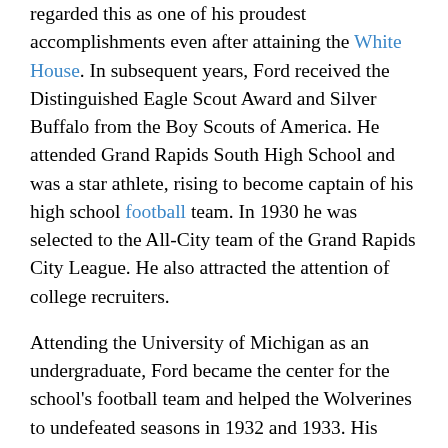regarded this as one of his proudest accomplishments even after attaining the White House. In subsequent years, Ford received the Distinguished Eagle Scout Award and Silver Buffalo from the Boy Scouts of America. He attended Grand Rapids South High School and was a star athlete, rising to become captain of his high school football team. In 1930 he was selected to the All-City team of the Grand Rapids City League. He also attracted the attention of college recruiters.
Attending the University of Michigan as an undergraduate, Ford became the center for the school's football team and helped the Wolverines to undefeated seasons in 1932 and 1933. His number 48 jersey has since been retired by the school. At Michigan, Ford was a member of the Delta Kappa Epsilon fraternity and washed dishes at his fraternity house to earn money to pay for college expenses. While at Michigan, Ford turned down contract offers from the Detroit Lions and Green Bay Packers of the National Football League following his graduation in 1935